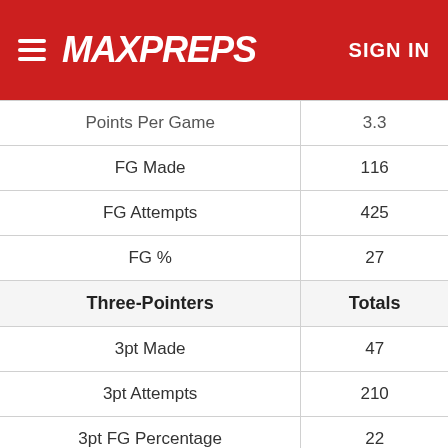[Figure (logo): MaxPreps logo header with hamburger menu and SIGN IN button on red background]
| Stat | Value |
| --- | --- |
| Points Per Game | 3.3 |
| FG Made | 116 |
| FG Attempts | 425 |
| FG % | 27 |
| Three-Pointers | Totals |
| 3pt Made | 47 |
| 3pt Attempts | 210 |
| 3pt FG Percentage | 22 |
| Two-Pointers | Totals |
| 2pt Made | 69 |